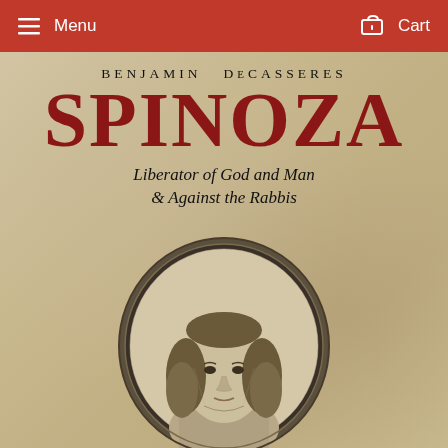Menu   Cart
[Figure (illustration): Book cover for 'Spinoza: Liberator of God and Man & Against the Rabbis' by Benjamin DeCasseres, featuring a large red title 'SPINOZA', author name in black uppercase, italic subtitle text, and an oval engraved portrait of Spinoza at the bottom, all on a parchment-colored background.]
BENJAMIN DeCaSSERES SPINOZA Liberator of God and Man & Against the Rabbis